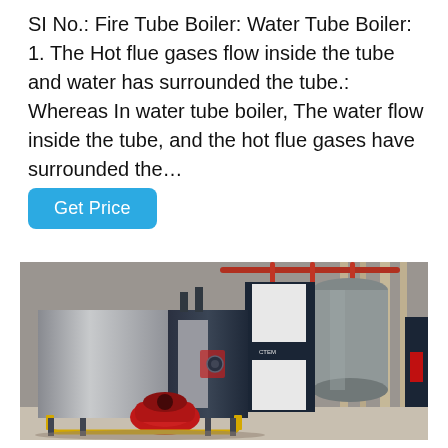SI No.: Fire Tube Boiler: Water Tube Boiler: 1. The Hot flue gases flow inside the tube and water has surrounded the tube.: Whereas In water tube boiler, The water flow inside the tube, and the hot flue gases have surrounded the...
Get Price
[Figure (photo): Industrial boilers in a factory setting. In the foreground, a large rectangular dark blue/grey fire tube boiler with a red burner at the front and yellow piping at the base. Behind it stand other boiler units including a tall white and dark blue unit and a large cylindrical unit. Industrial pipes and structure visible in the background.]